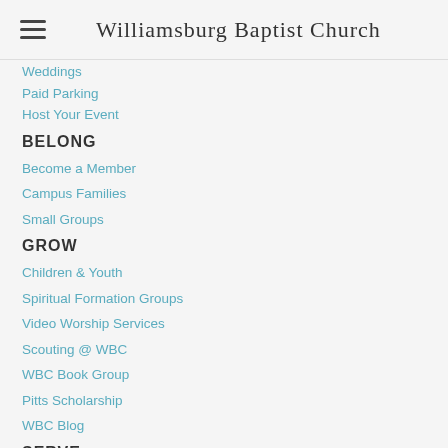Williamsburg Baptist Church
Weddings
Paid Parking
Host Your Event
BELONG
Become a Member
Campus Families
Small Groups
GROW
Children & Youth
Spiritual Formation Groups
Video Worship Services
Scouting @ WBC
WBC Book Group
Pitts Scholarship
WBC Blog
SERVE